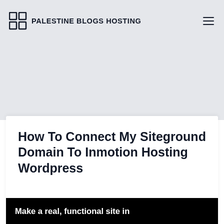PALESTINE BLOGS HOSTING
How To Connect My Siteground Domain To Inmotion Hosting Wordpress
Make a real, functional site in